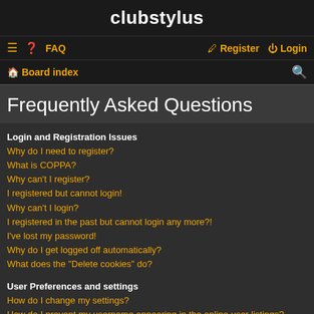clubstylus
≡  FAQ    Register  Login
Board index
Frequently Asked Questions
Login and Registration Issues
Why do I need to register?
What is COPPA?
Why can't I register?
I registered but cannot login!
Why can't I login?
I registered in the past but cannot login any more?!
I've lost my password!
Why do I get logged off automatically?
What does the "Delete cookies" do?
User Preferences and settings
How do I change my settings?
How do I prevent my username appearing in the online user listings?
The times are not correct!
I changed the timezone and the time is still wrong!
My language is not in the list!
What are the images next to my username?